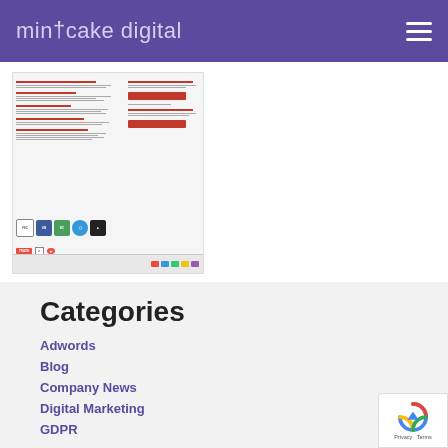mintcake digital
[Figure (screenshot): Screenshot thumbnail of a webpage with text content, red headings and buttons, certification logos/badges, and a grey footer bar.]
Categories
Adwords
Blog
Company News
Digital Marketing
GDPR